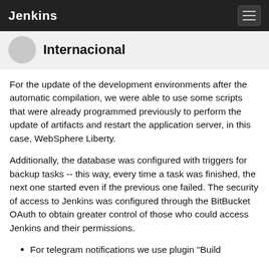Jenkins
Internacional
For the update of the development environments after the automatic compilation, we were able to use some scripts that were already programmed previously to perform the update of artifacts and restart the application server, in this case, WebSphere Liberty.
Additionally, the database was configured with triggers for backup tasks -- this way, every time a task was finished, the next one started even if the previous one failed. The security of access to Jenkins was configured through the BitBucket OAuth to obtain greater control of those who could access Jenkins and their permissions.
For telegram notifications we use plugin "Build